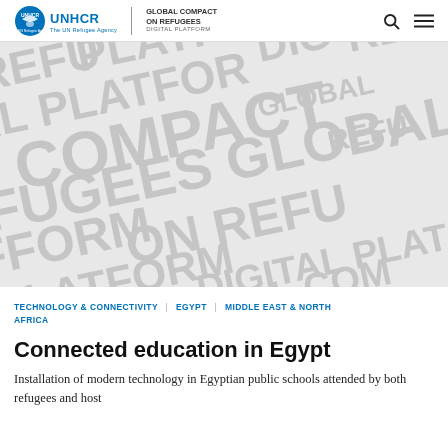UNHCR | GLOBAL COMPACT ON REFUGEES DIGITAL PLATFORM
[Figure (illustration): Background pattern of repeating words: REFUGEES, GLOBAL, COMPACT, ON, PLATFORM, DIGITAL in large bold grey text on a light grey background, arranged at diagonal angles]
TECHNOLOGY & CONNECTIVITY | EGYPT | MIDDLE EAST & NORTH AFRICA
Connected education in Egypt
Installation of modern technology in Egyptian public schools attended by both refugees and host...